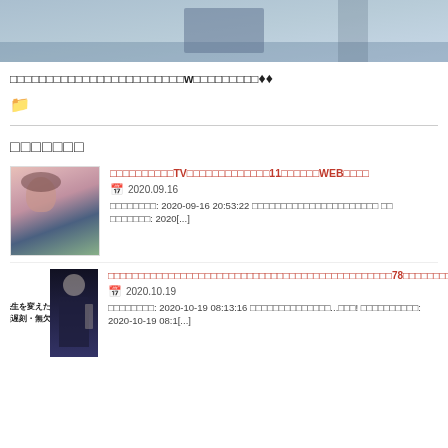[Figure (photo): Top banner image showing partial view of a person in blue clothing]
□□□□□□□□□□□□□□□□□□□□□□□□w□□□□□□□□□□□♦♦
[Figure (illustration): Folder icon]
□□□□□□□
[Figure (illustration): Thumbnail of anime-style girl with brown hair]
□□□□□□□□□□TV□□□□□□□□□□□□□□11□□□□□□WEB□□□□
2020.09.16
□□□□□□□□: 2020-09-16 20:53:22 □□□□□□□□□□□□□□□□□□□□□□ □□□□□□□□: 2020[...]
[Figure (photo): Thumbnail with text 先生を変えたら無遅刻・無欠席 and man in suit]
□□□□□□□□□□□□□□□□□□□□□□□□□□□□□□□□□□□□□□□□□□□□□□□□78□□□□□□□□□□□□□□□□□□□□□□□□□□□□□□□□□□
2020.10.19
□□□□□□□□: 2020-10-19 08:13:16 □□□□□□□□□□□□□□...□□□! □□□□□□□□□□: 2020-10-19 08:1[...]